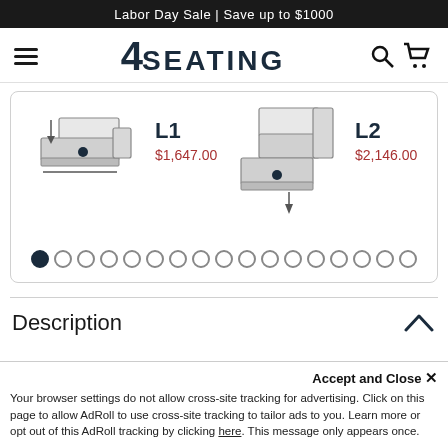Labor Day Sale | Save up to $1000
[Figure (logo): 4SEATING logo with hamburger menu, search and cart icons]
[Figure (illustration): Product configuration diagrams showing L1 at $1,647.00 and L2 at $2,146.00 with sectional sofa layout options and carousel dots]
Description
Accept and Close ✕
Your browser settings do not allow cross-site tracking for advertising. Click on this page to allow AdRoll to use cross-site tracking to tailor ads to you. Learn more or opt out of this AdRoll tracking by clicking here. This message only appears once.